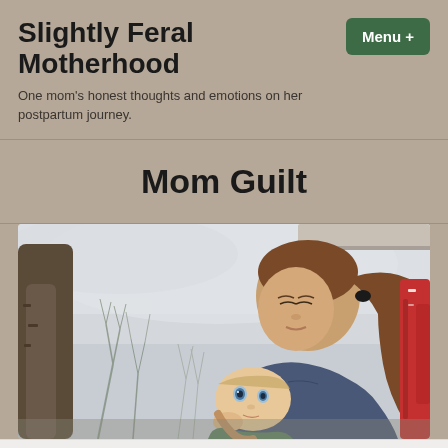Slightly Feral Motherhood
One mom's honest thoughts and emotions on her postpartum journey.
Mom Guilt
[Figure (photo): A mother with her eyes closed, resting her head against a baby she is holding. The scene is outdoors on a porch with bare winter trees and a red chair visible in the background.]
Follow ...